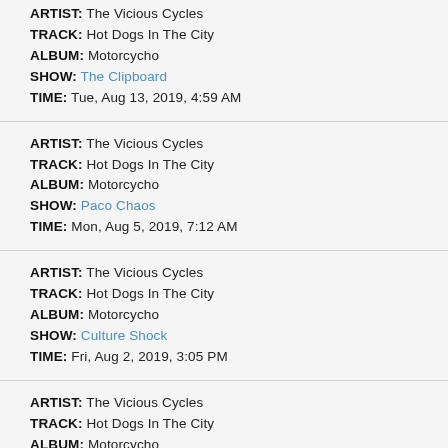ARTIST: The Vicious Cycles
TRACK: Hot Dogs In The City
ALBUM: Motorcycho
SHOW: The Clipboard
TIME: Tue, Aug 13, 2019, 4:59 AM
ARTIST: The Vicious Cycles
TRACK: Hot Dogs In The City
ALBUM: Motorcycho
SHOW: Paco Chaos
TIME: Mon, Aug 5, 2019, 7:12 AM
ARTIST: The Vicious Cycles
TRACK: Hot Dogs In The City
ALBUM: Motorcycho
SHOW: Culture Shock
TIME: Fri, Aug 2, 2019, 3:05 PM
ARTIST: The Vicious Cycles
TRACK: Hot Dogs In The City
ALBUM: Motorcycho
SHOW: Paco Chaos
TIME: Mon, Aug 15, 2019, 7:01 AM